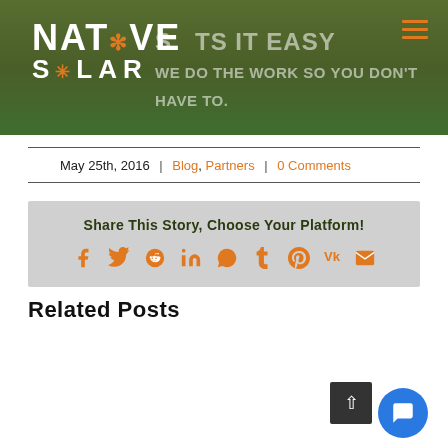[Figure (screenshot): Native Solar website header banner with logo, tagline, background image of people gardening, and hamburger menu icon]
May 25th, 2016 | Blog, Partners | 0 Comments
Share This Story, Choose Your Platform!
[Figure (infographic): Social media share icons: Facebook, Twitter, Reddit, LinkedIn, WhatsApp, Tumblr, Pinterest, VK, Email]
Related Posts